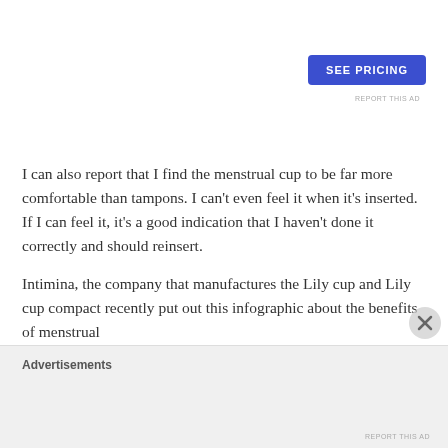[Figure (other): Advertisement section with SEE PRICING button and REPORT THIS AD text]
I can also report that I find the menstrual cup to be far more comfortable than tampons. I can't even feel it when it's inserted. If I can feel it, it's a good indication that I haven't done it correctly and should reinsert.
Intimina, the company that manufactures the Lily cup and Lily cup compact recently put out this infographic about the benefits of menstrual cups.
Advertisements